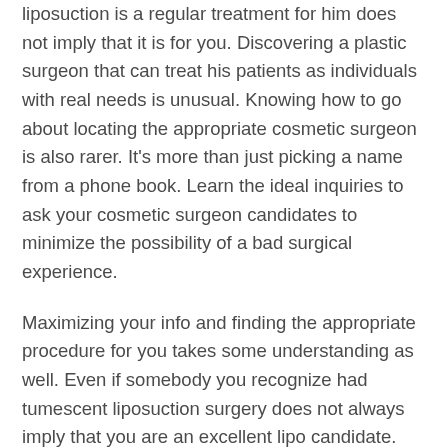liposuction is a regular treatment for him does not imply that it is for you. Discovering a plastic surgeon that can treat his patients as individuals with real needs is unusual. Knowing how to go about locating the appropriate cosmetic surgeon is also rarer. It's more than just picking a name from a phone book. Learn the ideal inquiries to ask your cosmetic surgeon candidates to minimize the possibility of a bad surgical experience.
Maximizing your info and finding the appropriate procedure for you takes some understanding as well. Even if somebody you recognize had tumescent liposuction surgery does not always imply that you are an excellent lipo candidate. Learning the appropriate questions once again can help limit what could be best for you as well as your body generally.
Knowing where to look to discover the info you need to